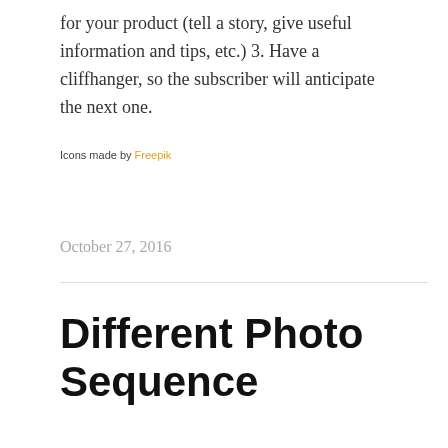for your product (tell a story, give useful information and tips, etc.) 3. Have a cliffhanger, so the subscriber will anticipate the next one.
Icons made by Freepik
October 27, 2016
Different Photo Sequence